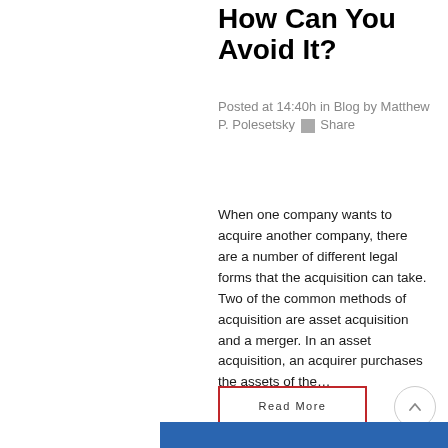How Can You Avoid It?
Posted at 14:40h in Blog by Matthew P. Polesetsky  Share
When one company wants to acquire another company, there are a number of different legal forms that the acquisition can take. Two of the common methods of acquisition are asset acquisition and a merger. In an asset acquisition, an acquirer purchases the assets of the…
Read More